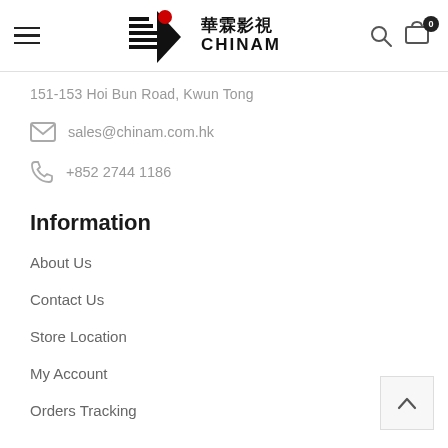华霖影视 CHINAM
151-153 Hoi Bun Road, Kwun Tong
sales@chinam.com.hk
+852 2744 1186
Information
About Us
Contact Us
Store Location
My Account
Orders Tracking